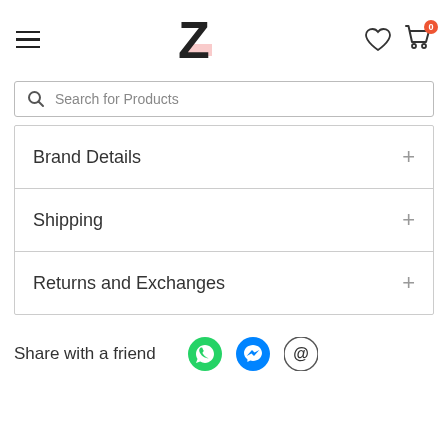[Figure (screenshot): Navigation header with hamburger menu, Z logo, heart icon, and shopping cart with badge showing 0]
Search for Products
Brand Details
Shipping
Returns and Exchanges
Share with a friend